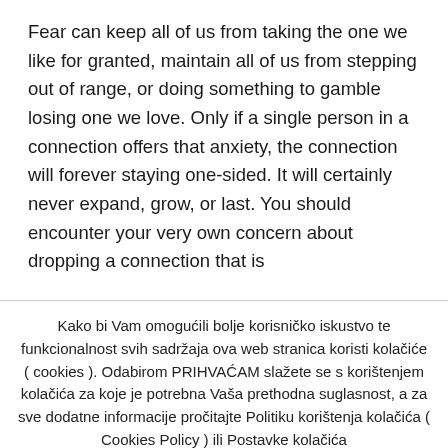Fear can keep all of us from taking the one we like for granted, maintain all of us from stepping out of range, or doing something to gamble losing one we love. Only if a single person in a connection offers that anxiety, the connection will forever staying one-sided. It will certainly never expand, grow, or last. You should encounter your very own concern about dropping a connection that is
Kako bi Vam omogućili bolje korisničko iskustvo te funkcionalnost svih sadržaja ova web stranica koristi kolačiće ( cookies ). Odabirom PRIHVAĆAM slažete se s korištenjem kolačića za koje je potrebna Vaša prethodna suglasnost, a za sve dodatne informacije pročitajte Politiku korištenja kolačića ( Cookies Policy ) ili Postavke kolačića
Cookie settings | Prihvaćam